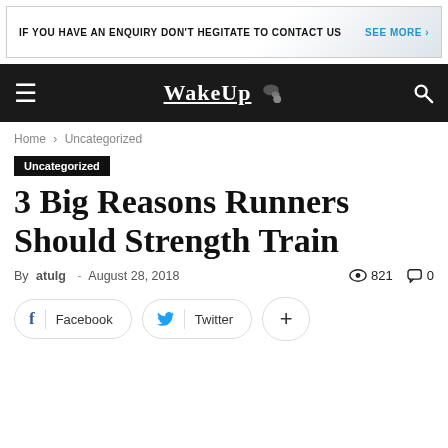IF YOU HAVE AN ENQUIRY DON'T HEGITATE TO CONTACT US   SEE MORE ›
[Figure (logo): WakeUp website navigation bar with hamburger menu, WakeUp logo, and search icon on dark background]
Home › Uncategorized
Uncategorized
3 Big Reasons Runners Should Strength Train
By atulg - August 28, 2018   821   0
Facebook   Twitter   +